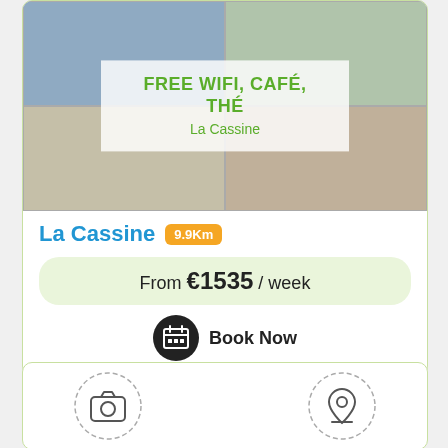[Figure (photo): 2x2 grid of apartment interior photos for La Cassine listing, with overlay text reading FREE WIFI, CAFÉ, THÉ and La Cassine]
La Cassine 9.9Km
From €1535 / week
Book Now
[Figure (other): Two dashed circle icons: a camera icon and a location pin icon, representing photos and map sections of a new listing card]